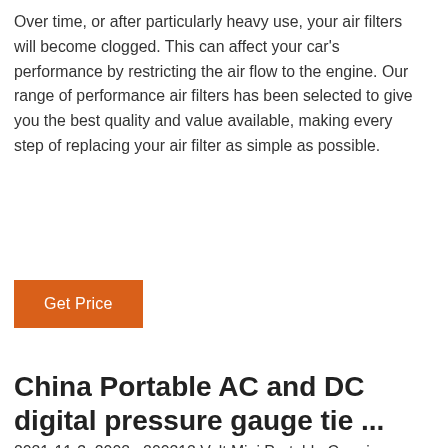Over time, or after particularly heavy use, your air filters will become clogged. This can affect your car's performance by restricting the air flow to the engine. Our range of performance air filters has been selected to give you the best quality and value available, making every step of replacing your air filter as simple as possible.
Get Price
China Portable AC and DC digital pressure gauge tie ...
2021-11-3u2002·u200212 Volt Mini Portable Car air pump (digital pressure gauge metal tire inflator) 12 Volt Mini Portable Car tire inflator